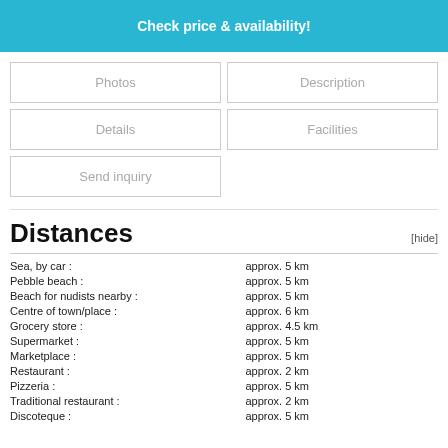Check price & availability!
Photos
Description
Details
Facilities
Send inquiry
Distances
| Location | Distance |
| --- | --- |
| Sea, by car : | approx. 5 km |
| Pebble beach : | approx. 5 km |
| Beach for nudists nearby : | approx. 5 km |
| Centre of town/place : | approx. 6 km |
| Grocery store : | approx. 4.5 km |
| Supermarket : | approx. 5 km |
| Marketplace : | approx. 5 km |
| Restaurant : | approx. 2 km |
| Pizzeria : | approx. 5 km |
| Traditional restaurant : | approx. 2 km |
| Discoteque : | approx. 5 km |